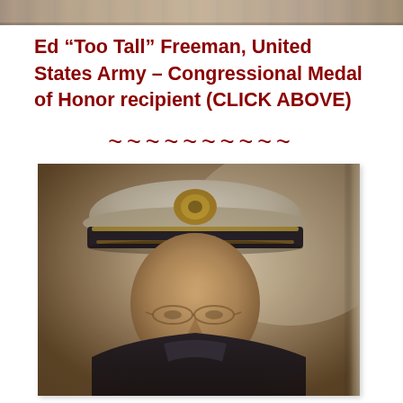[Figure (photo): Partial view of a military figure at the top of the page, cropped]
Ed “Too Tall” Freeman, United States Army – Congressional Medal of Honor recipient (CLICK ABOVE)
~~~~~~~~~~
[Figure (photo): Sepia-toned portrait photograph of a naval/military officer wearing a white dress cap with gold insignia and dark uniform, wearing glasses, looking slightly to the side]